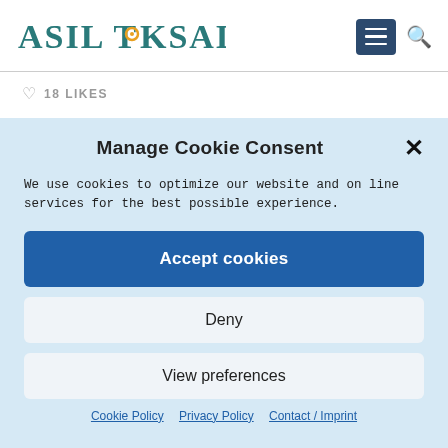ASIL TOKSAL
♡ 18 LIKES
Manage Cookie Consent
We use cookies to optimize our website and online services for the best possible experience.
Accept cookies
Deny
View preferences
Cookie Policy   Privacy Policy   Contact / Imprint